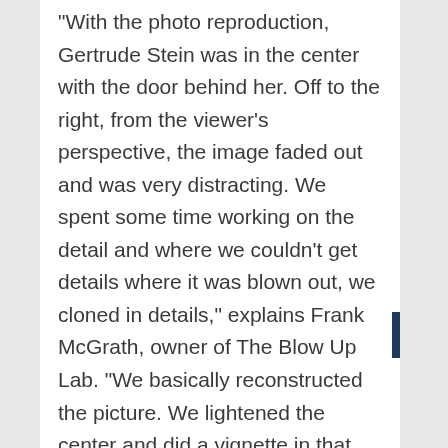“With the photo reproduction, Gertrude Stein was in the center with the door behind her. Off to the right, from the viewer’s perspective, the image faded out and was very distracting. We spent some time working on the detail and where we couldn’t get details where it was blown out, we cloned in details,” explains Frank McGrath, owner of The Blow Up Lab. “We basically reconstructed the picture. We lightened the center and did a vignette in that area so that your eye would not be distracted to the side, but focused on the subject. The original photo was somewhere in the 2 MB range and it was a grayscale image, so we brought the resolution up in Genuine Fractals so that the print was as sharp as possible.”